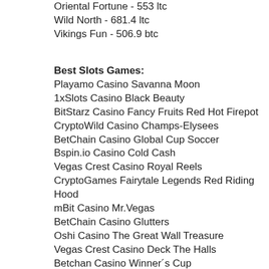Oriental Fortune - 553 ltc
Wild North - 681.4 ltc
Vikings Fun - 506.9 btc
Best Slots Games:
Playamo Casino Savanna Moon
1xSlots Casino Black Beauty
BitStarz Casino Fancy Fruits Red Hot Firepot
CryptoWild Casino Champs-Elysees
BetChain Casino Global Cup Soccer
Bspin.io Casino Cold Cash
Vegas Crest Casino Royal Reels
CryptoGames Fairytale Legends Red Riding Hood
mBit Casino Mr.Vegas
BetChain Casino Glutters
Oshi Casino The Great Wall Treasure
Vegas Crest Casino Deck The Halls
Betchan Casino Winner´s Cup